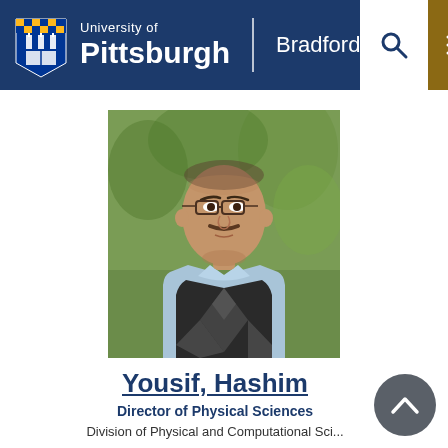University of Pittsburgh | Bradford
[Figure (photo): Professional headshot of Hashim Yousif, a middle-aged man with glasses and a mustache, wearing a dark argyle sweater vest over a light blue shirt, with a blurred green outdoor background.]
Yousif, Hashim
Director of Physical Sciences
Division of Physical and Computational Sci...